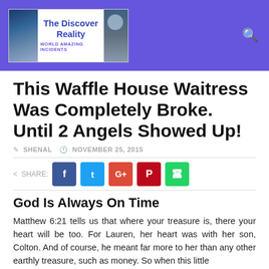The Discover Reality — WORLD AMAZING INCIDENTS
This Waffle House Waitress Was Completely Broke. Until 2 Angels Showed Up!
SHENAL   NOVEMBER 25, 2015
SHARE:
God Is Always On Time
Matthew 6:21 tells us that where your treasure is, there your heart will be too. For Lauren, her heart was with her son, Colton. And of course, he meant far more to her than any other earthly treasure, such as money. So when this little